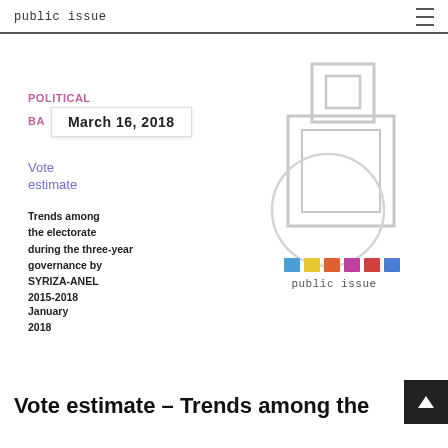public issue
POLITICAL
BA   March 16, 2018
[Figure (logo): Public Issue stylized 'i' logo graphic in grey with colored squares and 'public issue' text at bottom]
Vote estimate
Trends among the electorate during the three-year governance by SYRIZA-ANEL 2015-2018
January 2018
Vote estimate – Trends among the